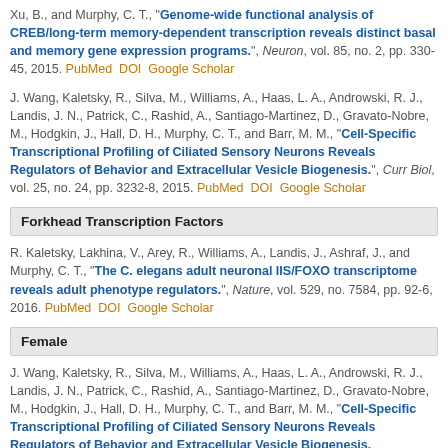Xu, B., and Murphy, C. T., "Genome-wide functional analysis of CREB/long-term memory-dependent transcription reveals distinct basal and memory gene expression programs.", Neuron, vol. 85, no. 2, pp. 330-45, 2015. PubMed DOI Google Scholar
J. Wang, Kaletsky, R., Silva, M., Williams, A., Haas, L. A., Androwski, R. J., Landis, J. N., Patrick, C., Rashid, A., Santiago-Martinez, D., Gravato-Nobre, M., Hodgkin, J., Hall, D. H., Murphy, C. T., and Barr, M. M., "Cell-Specific Transcriptional Profiling of Ciliated Sensory Neurons Reveals Regulators of Behavior and Extracellular Vesicle Biogenesis.", Curr Biol, vol. 25, no. 24, pp. 3232-8, 2015. PubMed DOI Google Scholar
Forkhead Transcription Factors
R. Kaletsky, Lakhina, V., Arey, R., Williams, A., Landis, J., Ashraf, J., and Murphy, C. T., "The C. elegans adult neuronal IIS/FOXO transcriptome reveals adult phenotype regulators.", Nature, vol. 529, no. 7584, pp. 92-6, 2016. PubMed DOI Google Scholar
Female
J. Wang, Kaletsky, R., Silva, M., Williams, A., Haas, L. A., Androwski, R. J., Landis, J. N., Patrick, C., Rashid, A., Santiago-Martinez, D., Gravato-Nobre, M., Hodgkin, J., Hall, D. H., Murphy, C. T., and Barr, M. M., "Cell-Specific Transcriptional Profiling of Ciliated Sensory Neurons Reveals Regulators of Behavior and Extracellular Vesicle Biogenesis.", Curr Biol, vol. 25, no. 24, pp. 3232-8, 2015. PubMed